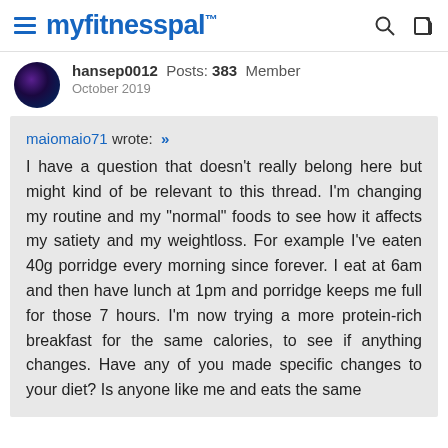myfitnesspal
hansep0012 Posts: 383 Member
October 2019
maiomaio71 wrote: »
I have a question that doesn't really belong here but might kind of be relevant to this thread. I'm changing my routine and my "normal" foods to see how it affects my satiety and my weightloss. For example I've eaten 40g porridge every morning since forever. I eat at 6am and then have lunch at 1pm and porridge keeps me full for those 7 hours. I'm now trying a more protein-rich breakfast for the same calories, to see if anything changes. Have any of you made specific changes to your diet? Is anyone like me and eats the same